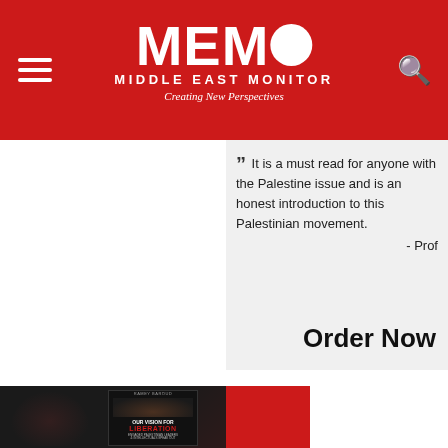MEMO MIDDLE EAST MONITOR Creating New Perspectives
" It is a must read for anyone with the Palestine issue and is an honest introduction to this Palestinian movement. - Prof
Order Now
[Figure (photo): Book cover of 'Our Vision for Liberation: Engaged Palestinian Leaders & Intellectuals Speak Out' displayed against a dark background with a red accent, book shows a close-up of an eye]